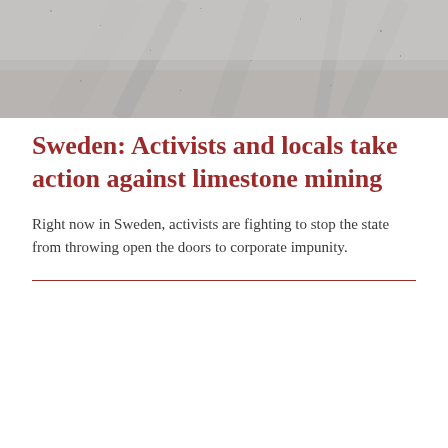[Figure (photo): Aerial or ground-level view of a dusty limestone or gravel road/mining area, grayscale tones]
Sweden: Activists and locals take action against limestone mining
Right now in Sweden, activists are fighting to stop the state from throwing open the doors to corporate impunity.